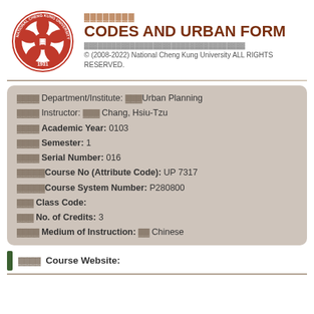[Figure (logo): National Cheng Kung University circular seal/logo in red with flower motif and text '1931']
CODES AND URBAN FORM
© (2008-2022) National Cheng Kung University ALL RIGHTS RESERVED.
| Department/Institute: | Urban Planning |
| Instructor: | Chang, Hsiu-Tzu |
| Academic Year: | 0103 |
| Semester: | 1 |
| Serial Number: | 016 |
| Course No (Attribute Code): | UP 7317 |
| Course System Number: | P280800 |
| Class Code: |  |
| No. of Credits: | 3 |
| Medium of Instruction: | Chinese |
Course Website: